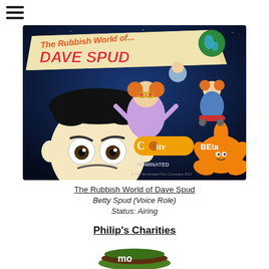[Figure (illustration): Promotional image for 'The Rubbish World of Dave Spud' animated show, featuring cartoon characters on a blue/space background with the show's title logo, CITV Beta branding, and 'NOMINATED' text]
The Rubbish World of Dave Spud
Betty Spud (Voice Role)
Status: Airing
Philip's Charities
[Figure (logo): Charity logo - partially visible, appears to be 'mo' with green and brown colors]